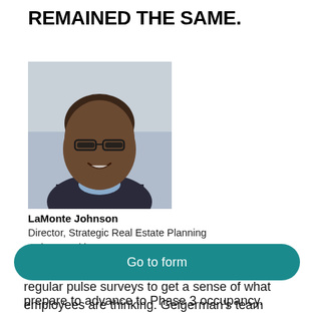REMAINED THE SAME.
[Figure (photo): Professional headshot of LaMonte Johnson, a man wearing glasses and a dark blazer over a light blue shirt, smiling.]
LaMonte Johnson
Director, Strategic Real Estate Planning
Atrium Health
Citrix has taken a similar approach, conducting regular pulse surveys to get a sense of what employees are thinking. Geigerman’s team collaborated with HR on a survey to gauge employees’ comfort level with returning to the office and to prepare to advance to Phase 3 occupancy.